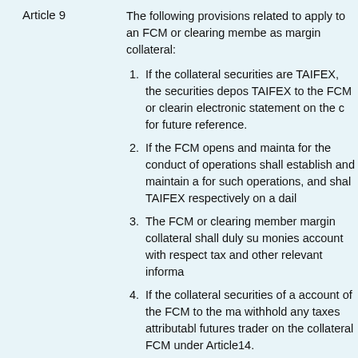Article 9    The following provisions related to apply to an FCM or clearing member as margin collateral:
1. If the collateral securities are TAIFEX, the securities depos TAIFEX to the FCM or clearin electronic statement on the c for future reference.
2. If the FCM opens and mainta for the conduct of operations shall establish and maintain a for such operations, and shal TAIFEX respectively on a dai
3. The FCM or clearing member margin collateral shall duly su monies account with respect tax and other relevant informa
4. If the collateral securities of a account of the FCM to the ma withhold any taxes attributabl futures trader on the collateral FCM under Article14.